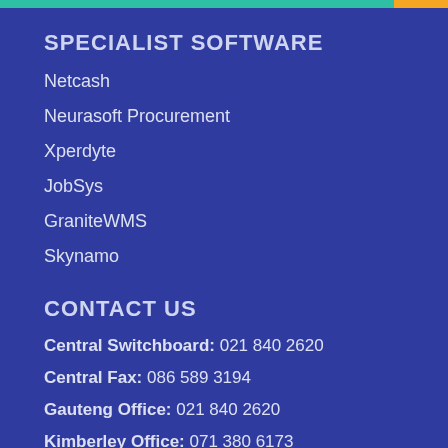SPECIALIST SOFTWARE
Netcash
Neurasoft Procurement
Xperdyte
JobSys
GraniteWMS
Skynamo
CONTACT US
Central Switchboard: 021 840 2620
Central Fax: 086 589 3194
Gauteng Office: 021 840 2620
Kimberley Office: 071 380 6173
Eastern Cape Office: 041 365 4223